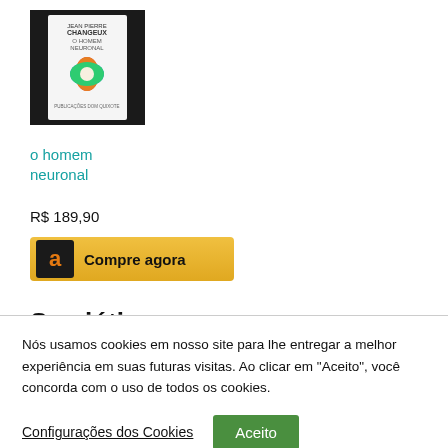[Figure (photo): Book cover photograph of 'O Homem Neuronal' by Jean-Pierre Changeux, showing colorful illustrated cover with flower-like shapes]
o homem neuronal
R$ 189,90
[Figure (other): Amazon 'Compre agora' buy button with Amazon logo in dark box and yellow background]
Semiótica
[Figure (logo): amazon.com.br logo with orange divider line above]
Nós usamos cookies em nosso site para lhe entregar a melhor experiência em suas futuras visitas. Ao clicar em "Aceito", você concorda com o uso de todos os cookies.
Configurações dos Cookies
Aceito